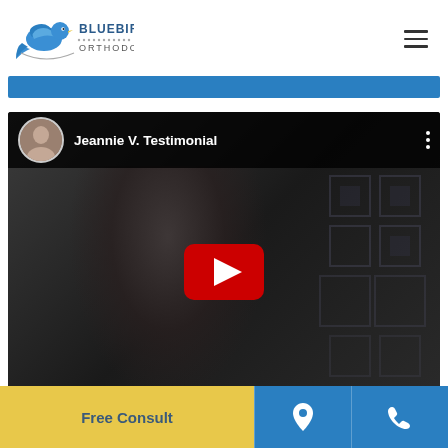[Figure (logo): Bluebird Orthodontics logo with blue bird and text]
[Figure (screenshot): YouTube video thumbnail titled Jeannie V. Testimonial showing a woman speaking with a YouTube play button overlay]
Free Consult
[Figure (other): Location pin icon]
[Figure (other): Phone icon]